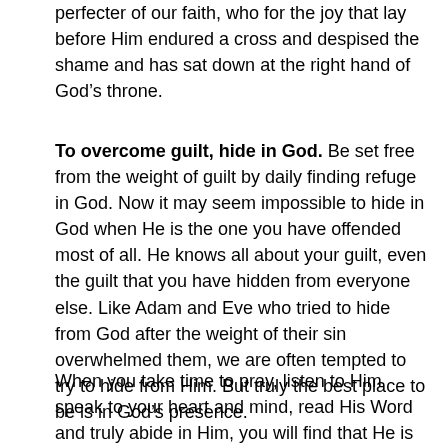perfecter of our faith, who for the joy that lay before Him endured a cross and despised the shame and has sat down at the right hand of God's throne.
To overcome guilt, hide in God. Be set free from the weight of guilt by daily finding refuge in God. Now it may seem impossible to hide in God when He is the one you have offended most of all. He knows all about your guilt, even the guilt that you have hidden from everyone else. Like Adam and Eve who tried to hide from God after the weight of their sin overwhelmed them, we are often tempted to try to hide from Him. But truly the best place to be is in God's presence.
When you take time to pray, listen to Him speak to your heart and mind, read His Word and truly abide in Him, you will find that He is the great burden-bearer. He loves you. He will give you rest. He will show the